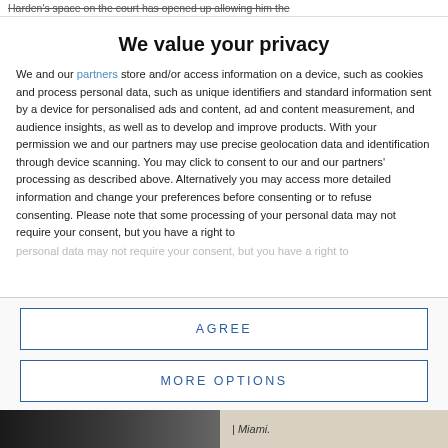Harden's space on the court has opened up allowing him the
We value your privacy
We and our partners store and/or access information on a device, such as cookies and process personal data, such as unique identifiers and standard information sent by a device for personalised ads and content, ad and content measurement, and audience insights, as well as to develop and improve products. With your permission we and our partners may use precise geolocation data and identification through device scanning. You may click to consent to our and our partners' processing as described above. Alternatively you may access more detailed information and change your preferences before consenting or to refuse consenting. Please note that some processing of your personal data may not require your consent, but you have a right to
AGREE
MORE OPTIONS
[Figure (photo): Partial image of a Miami scene visible at the bottom of the page]